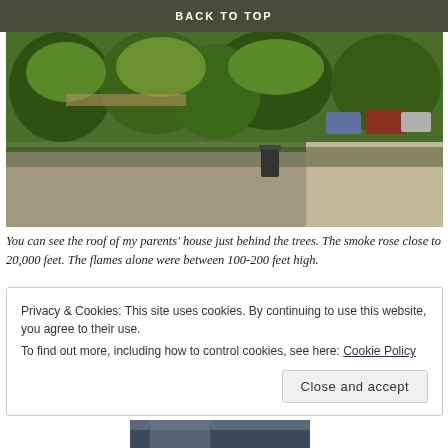BACK TO TOP
[Figure (photo): Suburban street view with trees in the foreground and a house roof visible behind them. Cars are parked farther down the street.]
You can see the roof of my parents' house just behind the trees. The smoke rose close to 20,000 feet. The flames alone were between 100-200 feet high.
Privacy & Cookies: This site uses cookies. By continuing to use this website, you agree to their use.
To find out more, including how to control cookies, see here: Cookie Policy
Close and accept
[Figure (photo): Partially visible photo at bottom of page showing a dark cloudy sky scene.]